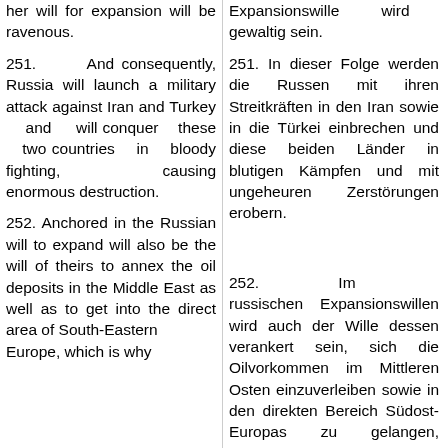her will for expansion will be ravenous.
251. And consequently, Russia will launch a military attack against Iran and Turkey and will conquer these two countries in bloody fighting, causing enormous destruction.
252. Anchored in the Russian will to expand will also be the will of theirs to annex the oil deposits in the Middle East as well as to get into the direct area of South-Eastern Europe, which is why
Expansionswille wird gewaltig sein.
251. In dieser Folge werden die Russen mit ihren Streitkräften in den Iran sowie in die Türkei einbrechen und diese beiden Länder in blutigen Kämpfen und mit ungeheuren Zerstörungen erobern.
252. Im russischen Expansionswillen wird auch der Wille dessen verankert sein, sich die Oilvorkommen im Mittleren Osten einzuverleiben sowie in den direkten Bereich Südost-Europas zu gelangen, weshalb sie auch auf den Balkan vorstossen und die dortigen